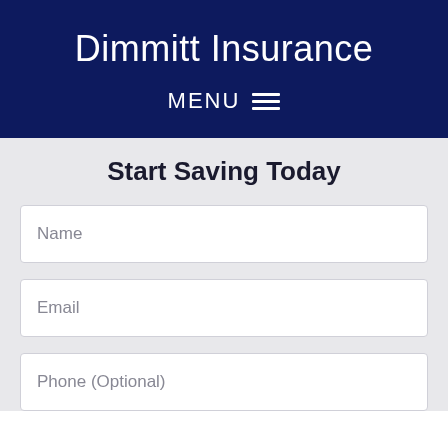Dimmitt Insurance
MENU ☰
Start Saving Today
Name
Email
Phone (Optional)